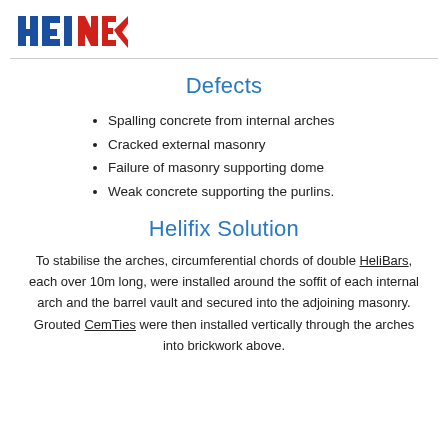[Figure (logo): Helifix company logo with blue block letters HEI and red stylized HEIV text]
Defects
Spalling concrete from internal arches
Cracked external masonry
Failure of masonry supporting dome
Weak concrete supporting the purlins.
Helifix Solution
To stabilise the arches, circumferential chords of double HeliBars, each over 10m long, were installed around the soffit of each internal arch and the barrel vault and secured into the adjoining masonry. Grouted CemTies were then installed vertically through the arches into brickwork above.